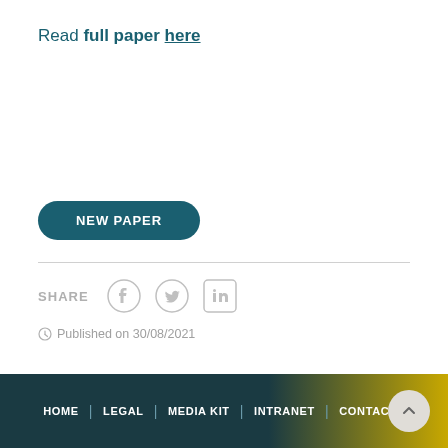Read full paper here
[Figure (other): NEW PAPER button — dark teal rounded rectangle with white bold uppercase text]
SHARE (Facebook, Twitter, LinkedIn icons)
Published on 30/08/2021
HOME | LEGAL | MEDIA KIT | INTRANET | CONTACTS